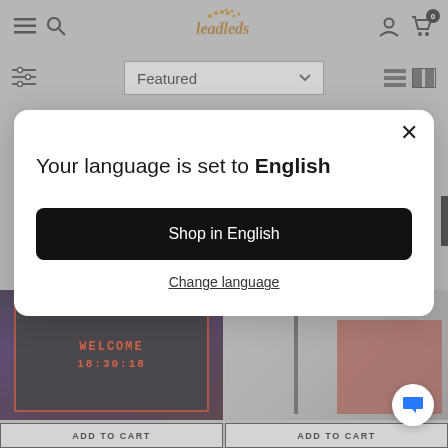Leadleds - Featured
[Figure (screenshot): E-commerce product listing page for Leadleds with modal dialog overlay saying 'Your language is set to English' with a 'Shop in English' button and 'Change language' link. Background shows LED sign products with ADD TO CART buttons.]
Your language is set to English
Shop in English
Change language